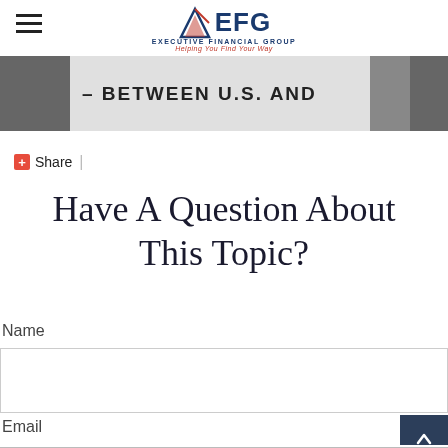EFG Executive Financial Group — Helping You Find Your Way
[Figure (photo): Partial banner image showing text '– BETWEEN U.S. AND' on a sign, with dark gray background on sides]
+ Share |
Have A Question About This Topic?
Name
Email